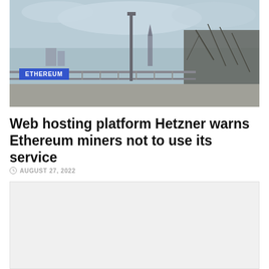[Figure (photo): Outdoor urban scene with a bridge railing, street lamp pole, bare winter trees, and a city skyline including a church spire in the background under a partly cloudy sky. Desaturated/grayscale tones.]
Web hosting platform Hetzner warns Ethereum miners not to use its service
AUGUST 27, 2022